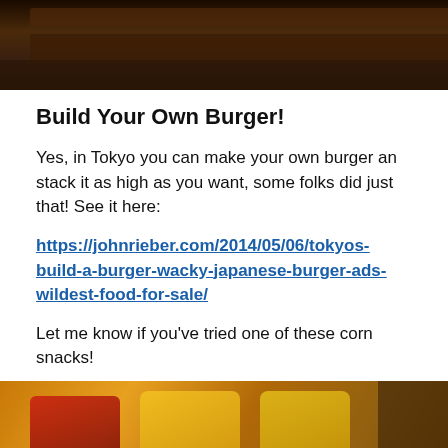[Figure (photo): Top portion of a photo showing what appears to be food packaging or snack items on a wooden surface, cropped at the top of the page.]
Build Your Own Burger!
Yes, in Tokyo you can make your own burger an stack it as high as you want, some folks did just that! See it here:
https://johnrieber.com/2014/05/06/tokyos-build-a-burger-wacky-japanese-burger-ads-wildest-food-for-sale/
Let me know if you've tried one of these corn snacks!
[Figure (photo): Bottom portion showing colorful Japanese snack packaging including what appears to be Teriyaki flavored corn snack bags with cartoon characters.]